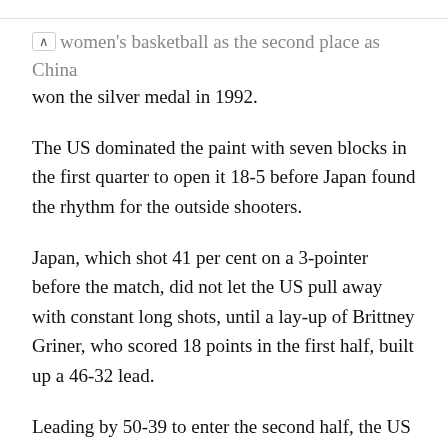women's basketball as the second place as China won the silver medal in 1992.
The US dominated the paint with seven blocks in the first quarter to open it 18-5 before Japan found the rhythm for the outside shooters.
Japan, which shot 41 per cent on a 3-pointer before the match, did not let the US pull away with constant long shots, until a lay-up of Brittney Griner, who scored 18 points in the first half, built up a 46-32 lead.
Leading by 50-39 to enter the second half, the US used a 15-4 run to extend the lead to 73-49.
Losing 86-69 to the US in the group phase, Japan could not find a better way to close the gap of height, three inches